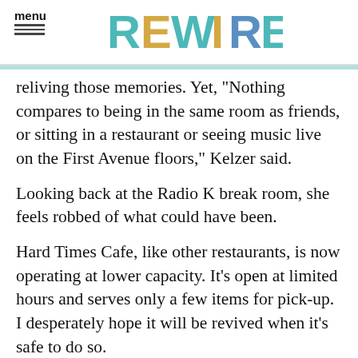menu | REWIRE
reliving those memories. Yet, "Nothing compares to being in the same room as friends, or sitting in a restaurant or seeing music live on the First Avenue floors," Kelzer said.
Looking back at the Radio K break room, she feels robbed of what could have been.
Hard Times Cafe, like other restaurants, is now operating at lower capacity. It's open at limited hours and serves only a few items for pick-up. I desperately hope it will be revived when it's safe to do so.
It's one of those places where I'd feel